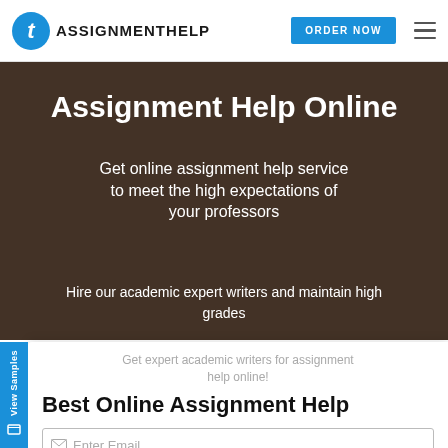[Figure (logo): TAssignmentHelp logo with blue circle containing italic t and text ASSIGNMENTHELP]
Assignment Help Online
Get online assignment help service to meet the high expectations of your professors
Hire our academic expert writers and maintain high grades
Get expert academic writers for assignment help online!
Best Online Assignment Help
Enter Email